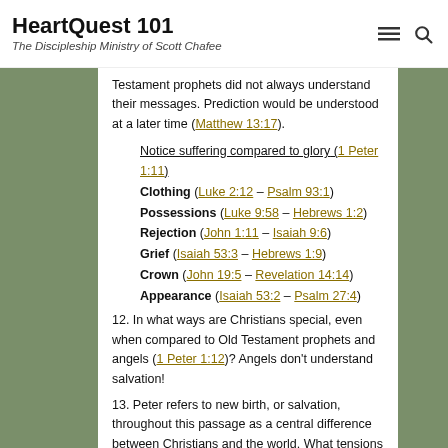HeartQuest 101 — The Discipleship Ministry of Scott Chafee
Testament prophets did not always understand their messages. Prediction would be understood at a later time (Matthew 13:17).
Notice suffering compared to glory (1 Peter 1:11)
Clothing (Luke 2:12 – Psalm 93:1)
Possessions (Luke 9:58 – Hebrews 1:2)
Rejection (John 1:11 – Isaiah 9:6)
Grief (Isaiah 53:3 – Hebrews 1:9)
Crown (John 19:5 – Revelation 14:14)
Appearance (Isaiah 53:2 – Psalm 27:4)
12. In what ways are Christians special, even when compared to Old Testament prophets and angels (1 Peter 1:12)? Angels don't understand salvation!
13. Peter refers to new birth, or salvation, throughout this passage as a central difference between Christians and the world. What tensions have you experienced